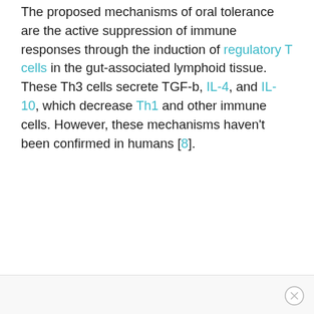The proposed mechanisms of oral tolerance are the active suppression of immune responses through the induction of regulatory T cells in the gut-associated lymphoid tissue. These Th3 cells secrete TGF-b, IL-4, and IL-10, which decrease Th1 and other immune cells. However, these mechanisms haven't been confirmed in humans [8].
ADVERTISEMENT